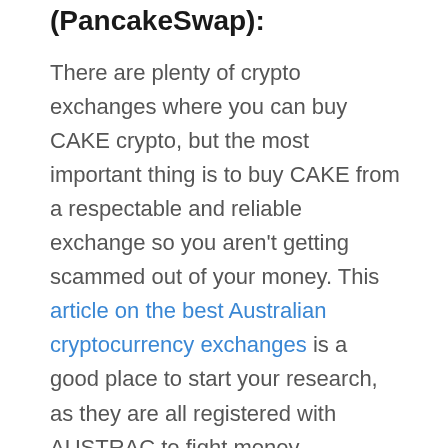(PancakeSwap):
There are plenty of crypto exchanges where you can buy CAKE crypto, but the most important thing is to buy CAKE from a respectable and reliable exchange so you aren't getting scammed out of your money. This article on the best Australian cryptocurrency exchanges is a good place to start your research, as they are all registered with AUSTRAC to fight money laundering and terrorism financing.
My top recommendation for buying CAKE is CoinSpot since it's user-friendly, has free deposits and withdrawals, over 360+